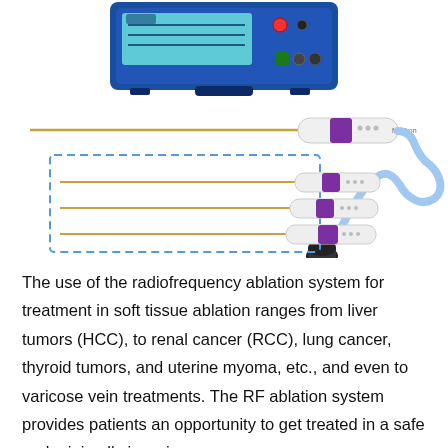[Figure (photo): Photo of a radiofrequency ablation system showing: top portion — a blue and white RF generator device; middle — a white handheld RF ablation probe/electrode with a long thin needle tip and purple connector band, connected via a coiled blue tube to a black connector plug; bottom inset (dashed blue border) — three RF ablation probes/electrodes of different sizes side by side.]
The use of the radiofrequency ablation system for treatment in soft tissue ablation ranges from liver tumors (HCC), to renal cancer (RCC), lung cancer, thyroid tumors, and uterine myoma, etc., and even to varicose vein treatments. The RF ablation system provides patients an opportunity to get treated in a safe and minimally invasive